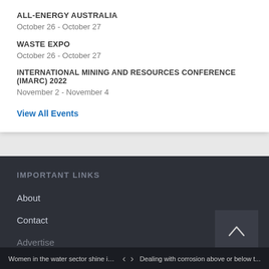ALL-ENERGY AUSTRALIA
October 26 - October 27
WASTE EXPO
October 26 - October 27
INTERNATIONAL MINING AND RESOURCES CONFERENCE (IMARC) 2022
November 2 - November 4
View All Events
IMPORTANT LINKS
About
Contact
Advertise
Women in the water sector shine in top 5...  <  >  Dealing with corrosion above or below t...